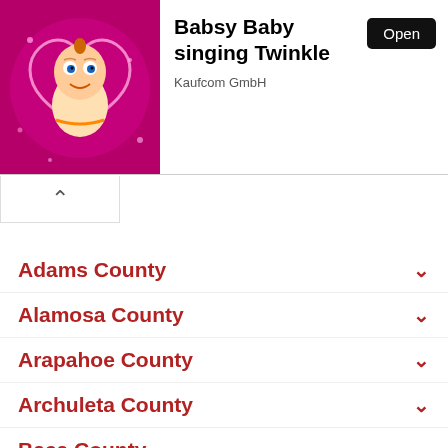[Figure (illustration): Advertisement banner for Babsy Baby singing Twinkle app by Kaufcom GmbH, showing a cartoon baby character on a pink background with an Open button]
Adams County
Alamosa County
Arapahoe County
Archuleta County
Baca County
Bent County